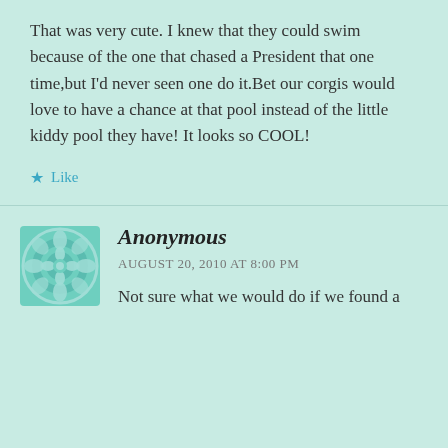That was very cute. I knew that they could swim because of the one that chased a President that one time,but I'd never seen one do it.Bet our corgis would love to have a chance at that pool instead of the little kiddy pool they have! It looks so COOL!
Like
Anonymous
AUGUST 20, 2010 AT 8:00 PM
Not sure what we would do if we found a